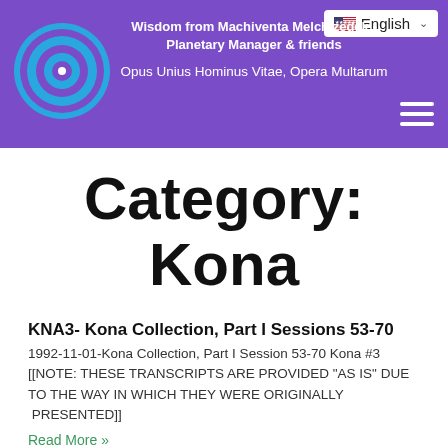Wisdom from Machiventa Melchizedek - Planetary Manager & friends
Opus Unius Hominus Vitae, Opera Multarum
Category: Kona
KNA3- Kona Collection, Part I Sessions 53-70
1992-11-01-Kona Collection, Part I Session 53-70 Kona #3  [[NOTE: THESE TRANSCRIPTS ARE PROVIDED "AS IS" DUE TO THE WAY IN WHICH THEY WERE ORIGINALLY  PRESENTED]]
Read More »
KNA7- Veronica Collection Session 37-70